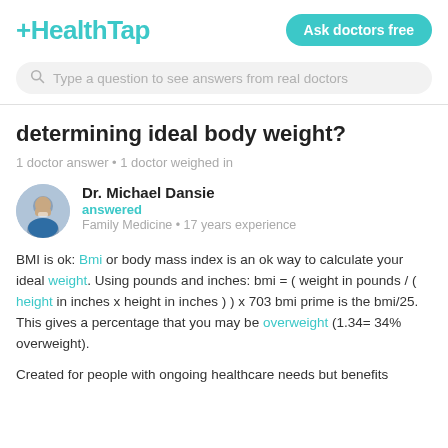HealthTap | Ask doctors free
Type a question to see answers from real doctors
determining ideal body weight?
1 doctor answer • 1 doctor weighed in
Dr. Michael Dansie
answered
Family Medicine • 17 years experience
BMI is ok: Bmi or body mass index is an ok way to calculate your ideal weight. Using pounds and inches: bmi = ( weight in pounds / ( height in inches x height in inches ) ) x 703 bmi prime is the bmi/25. This gives a percentage that you may be overweight (1.34= 34% overweight).
Created for people with ongoing healthcare needs but benefits